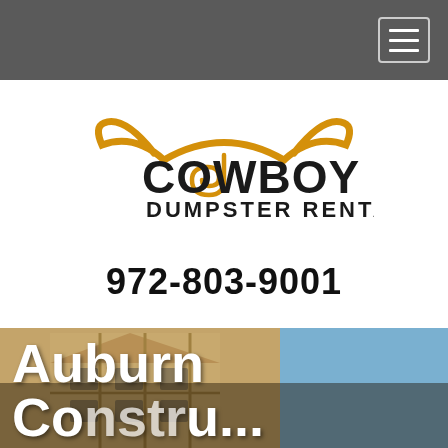Navigation bar with hamburger menu icon
[Figure (logo): Cowboy Dumpster Rentals logo with longhorn bull horns in orange/gold above stylized text reading COWBOY DUMPSTER RENTALS in black]
972-803-9001
[Figure (photo): Photo of a building under construction with wood framing and beige/tan exterior, blue sky in background. Overlaid with large white bold text reading 'Auburn Construction']